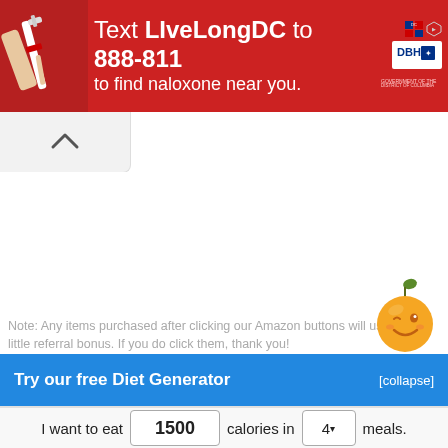[Figure (photo): Red advertisement banner: Text LIveLongDC to 888-811 to find naloxone near you. DC and DBH logos on right.]
[Figure (illustration): Orange smiley fruit mascot in bottom-right area]
Note: Any items purchased after clicking our Amazon buttons will us a little referral bonus. If you do click them, thank you!
Try our free Diet Generator
[collapse]
I want to eat 1500 calories in 4 meals.
Generate